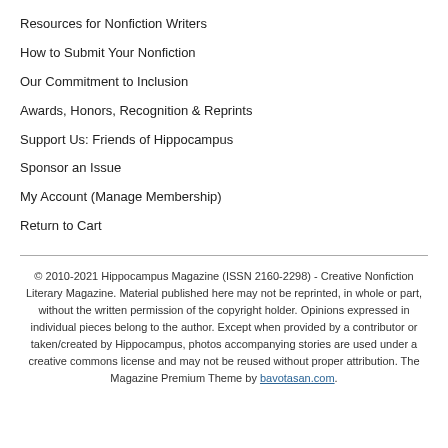Resources for Nonfiction Writers
How to Submit Your Nonfiction
Our Commitment to Inclusion
Awards, Honors, Recognition & Reprints
Support Us: Friends of Hippocampus
Sponsor an Issue
My Account (Manage Membership)
Return to Cart
© 2010-2021 Hippocampus Magazine (ISSN 2160-2298) - Creative Nonfiction Literary Magazine. Material published here may not be reprinted, in whole or part, without the written permission of the copyright holder. Opinions expressed in individual pieces belong to the author. Except when provided by a contributor or taken/created by Hippocampus, photos accompanying stories are used under a creative commons license and may not be reused without proper attribution. The Magazine Premium Theme by bavotasan.com.